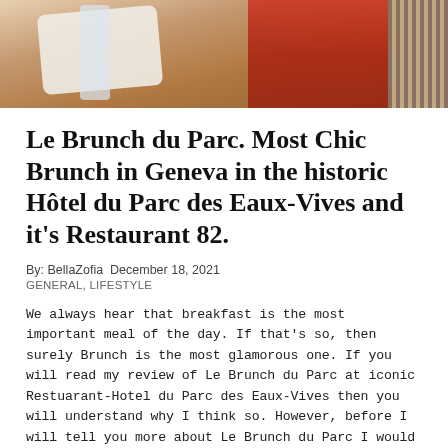[Figure (photo): Photo of a dining scene, showing a person in a red outfit at a restaurant table with plates and glassware, with a woven textile visible on the right side]
Le Brunch du Parc. Most Chic Brunch in Geneva in the historic Hôtel du Parc des Eaux-Vives and it's Restaurant 82.
By: BellaZofia  December 18, 2021
GENERAL, LIFESTYLE
We always hear that breakfast is the most important meal of the day. If that's so, then surely Brunch is the most glamorous one. If you will read my review of Le Brunch du Parc at iconic Restuarant-Hotel du Parc des Eaux-Vives then you will understand why I think so. However, before I will tell you more about Le Brunch du Parc I would like to tell you a little bit about Brunch in general.